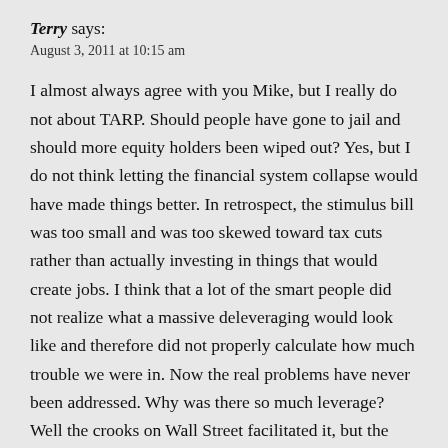Terry says:
August 3, 2011 at 10:15 am
I almost always agree with you Mike, but I really do not about TARP. Should people have gone to jail and should more equity holders been wiped out? Yes, but I do not think letting the financial system collapse would have made things better. In retrospect, the stimulus bill was too small and was too skewed toward tax cuts rather than actually investing in things that would create jobs. I think that a lot of the smart people did not realize what a massive deleveraging would look like and therefore did not properly calculate how much trouble we were in. Now the real problems have never been addressed. Why was there so much leverage? Well the crooks on Wall Street facilitated it, but the reason so many